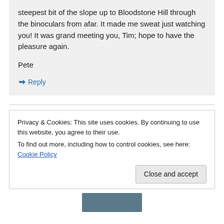steepest bit of the slope up to Bloodstone Hill through the binoculars from afar. It made me sweat just watching you! It was grand meeting you, Tim; hope to have the pleasure again.

Pete
↳ Reply
Privacy & Cookies: This site uses cookies. By continuing to use this website, you agree to their use.
To find out more, including how to control cookies, see here: Cookie Policy
Close and accept